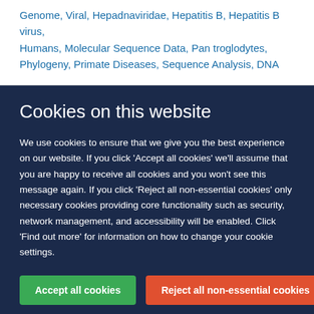Genome, Viral, Hepadnaviridae, Hepatitis B, Hepatitis B virus, Humans, Molecular Sequence Data, Pan troglodytes, Phylogeny, Primate Diseases, Sequence Analysis, DNA
Cookies on this website
We use cookies to ensure that we give you the best experience on our website. If you click 'Accept all cookies' we'll assume that you are happy to receive all cookies and you won't see this message again. If you click 'Reject all non-essential cookies' only necessary cookies providing core functionality such as security, network management, and accessibility will be enabled. Click 'Find out more' for information on how to change your cookie settings.